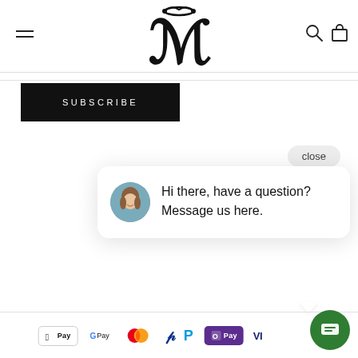[Figure (screenshot): Website header with hamburger menu, decorative M logo, search icon, and shopping bag icon]
[Figure (logo): Stylized decorative M monogram logo in black]
SUBSCRIBE
close
Hi there, have a question? Message us here.
[Figure (infographic): Payment method icons: Apple Pay, Google Pay, Mastercard, PayPal, OPay, Visa]
[Figure (other): Green chat FAB button with message icon]